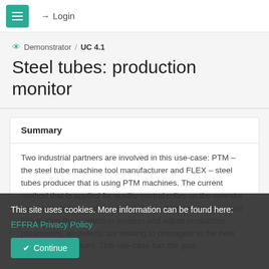≡  → Login
👁 Demonstrator / UC 4.1
Steel tubes: production monitor
Summary
Two industrial partners are involved in this use-case: PTM – the steel tube machine tool manufacturer and FLEX – steel tubes producer that is using PTM machines. The current method that is applied for quality control relies on the operator evaluating tubes for defects. If defect is detected, the operator has to stop the production process and adjust production parameters, as defects are tending to propagate to the next tube being produced. This use-case has the goal
This site uses cookies. More information can be found here: EFFRA Privacy Policy
Continue